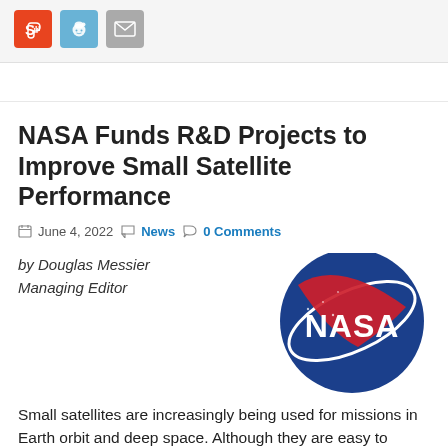[Figure (other): Social sharing buttons: StumbleUpon (orange), Reddit (light blue), Email (grey)]
NASA Funds R&D Projects to Improve Small Satellite Performance
June 4, 2022  News  0 Comments
by Douglas Messier
Managing Editor
[Figure (logo): NASA circular blue logo with red swoosh and white NASA lettering]
Small satellites are increasingly being used for missions in Earth orbit and deep space. Although they are easy to launch, their size limits their capabilities and usefulness to scientists. NASA has selected a pair of research and development (R&D) projects designed to address some of these limitations for continued fundin...